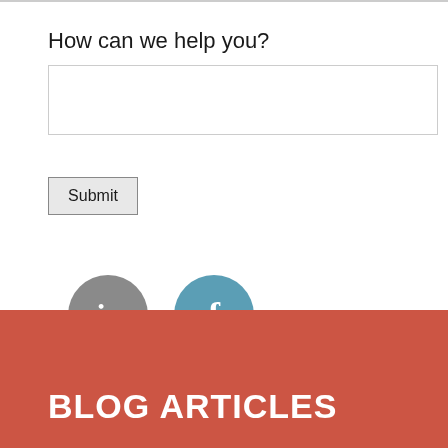How can we help you?
[Figure (other): Text input form field (empty text area with border)]
[Figure (other): Submit button]
[Figure (other): LinkedIn icon (grey circle with 'in' text) and Facebook icon (teal circle with 'f' text)]
BLOG ARTICLES